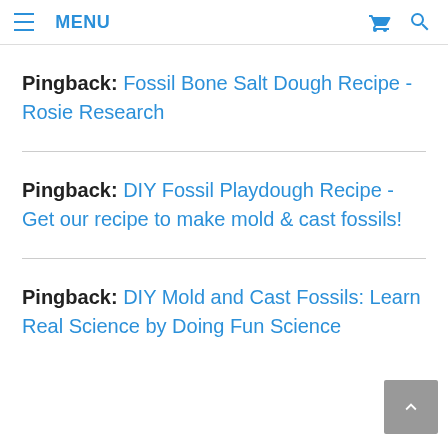≡ MENU
Pingback: Fossil Bone Salt Dough Recipe - Rosie Research
Pingback: DIY Fossil Playdough Recipe - Get our recipe to make mold & cast fossils!
Pingback: DIY Mold and Cast Fossils: Learn Real Science by Doing Fun Science